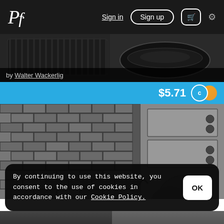Pf. | Sign in | Sign up | [cart] [settings]
[Figure (photo): Dark close-up photograph of cookware/pans on a stove]
by Walter Wackerlig
$5.71
[Figure (photo): Black and white photograph of a brick wall with a wooden dresser/chest of drawers and a round object in foreground]
By continuing to use this website, you consent to the use of cookies in accordance with our Cookie Policy.
OK